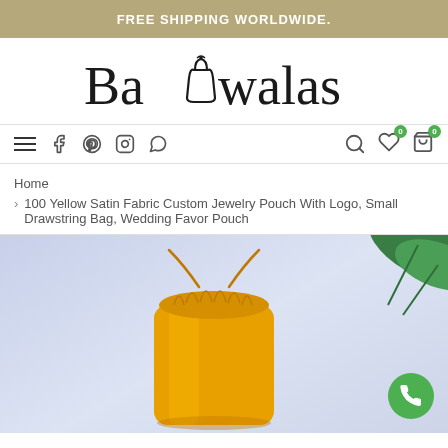FREE SHIPPING WORLDWIDE.
[Figure (logo): Bagwalas brand logo with a bag icon in the middle of the text]
[Figure (infographic): Navigation bar with hamburger menu, social icons (Facebook, Pinterest, Instagram, WhatsApp), and search/wishlist/cart icons]
Home
> 100 Yellow Satin Fabric Custom Jewelry Pouch With Logo, Small Drawstring Bag, Wedding Favor Pouch
[Figure (photo): Yellow drawstring satin fabric pouch/bag on a light blue/purple background with green leaves partially visible in the top right corner]